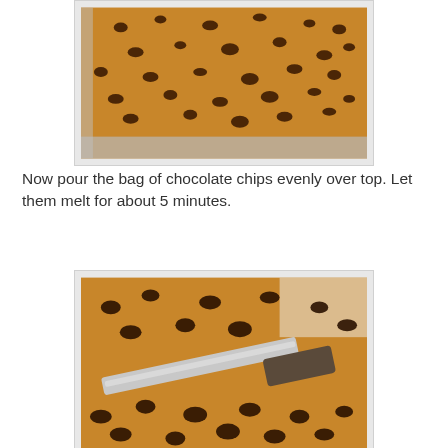[Figure (photo): A baking pan lined with foil containing a caramel layer topped with chocolate chips scattered evenly across the surface, viewed from above.]
Now pour the bag of chocolate chips evenly over top.  Let them melt for about 5 minutes.
[Figure (photo): Close-up of chocolate chips on a caramel layer with a metal offset spatula being used to spread the melting chocolate chips.]